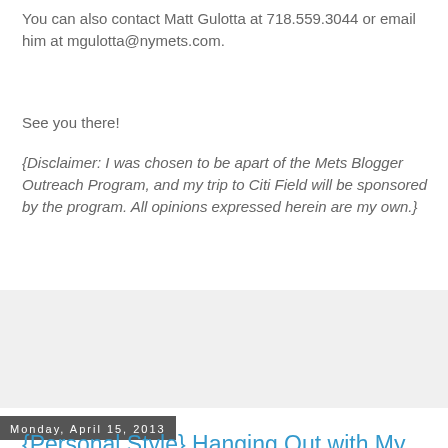You can also contact Matt Gulotta at 718.559.3044 or email him at mgulotta@nymets.com.
See you there!
{Disclaimer: I was chosen to be apart of the Mets Blogger Outreach Program, and my trip to Citi Field will be sponsored by the program. All opinions expressed herein are my own.}
1 comment:
Share
Monday, April 15, 2013
{Personal Style} Hanging Out with My Boyfriend... Jeans
[Figure (photo): Photo of a person, partially visible, dark indoor background]